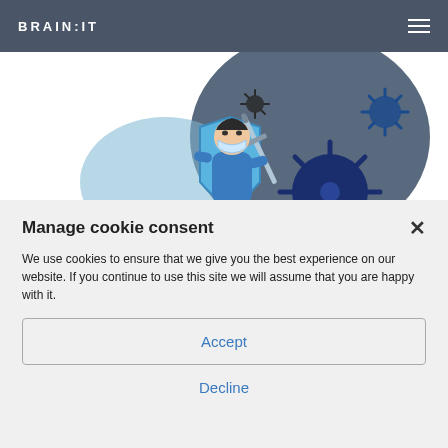BRAIN:IT
[Figure (illustration): A person wearing a face mask holding a shield and sword, with dark virus/pathogen shapes in the background — a COVID-19 protection illustration with blue and dark grey color scheme.]
Manage cookie consent
We use cookies to ensure that we give you the best experience on our website. If you continue to use this site we will assume that you are happy with it.
Accept
Decline